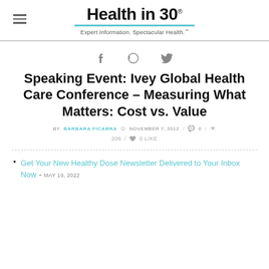Health in 30® Expert Information. Spectacular Health.™
Speaking Event: Ivey Global Health Care Conference – Measuring What Matters: Cost vs. Value
BY BARBARA FICARRA  NOVEMBER 7, 2012  0  206  0 LIKE
Get Your New Healthy Dose Newsletter Delivered to Your Inbox Now - MAY 19, 2022